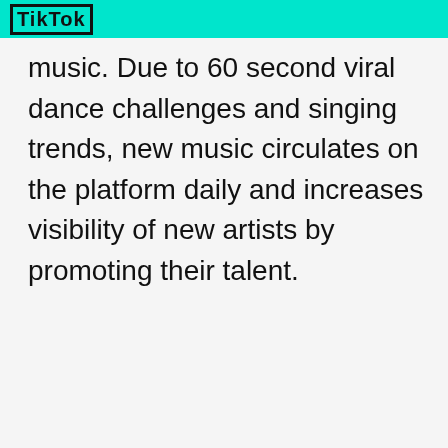TikTok
music. Due to 60 second viral dance challenges and singing trends, new music circulates on the platform daily and increases visibility of new artists by promoting their talent.